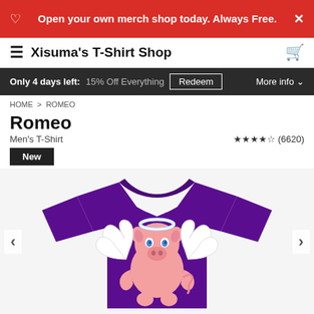Open your own merch shop today. Always Free.
Xisuma's T-Shirt Shop
Only 4 days left: 15% Off Everything  Redeem  More info
HOME > ROMEO
Romeo
Men's T-Shirt
★★★★½ (6620)
New
[Figure (photo): Purple t-shirt with a cartoon angel pig (Romeo) design - a cute pink pig with blue eyes, white angel wings, and a halo]